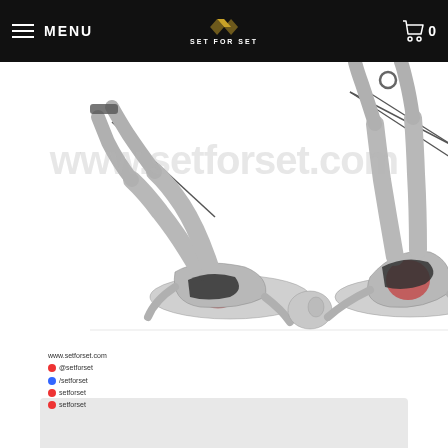MENU  SET FOR SET  0
[Figure (illustration): Two-panel exercise illustration showing a man performing resistance band crunches/reverse crunches using suspension rings. Left panel: starting position lying on back with knees bent and feet secured to straps. Right panel: end position with legs raised and body curled up. Muscles highlighted in red at the core/abdominal area. Watermark 'www.setforset.com' overlaid. Social media handles shown below: @setforset, /setforset, setforset, setforset.]
www.setforset.com
@setforset
/setforset
setforset
setforset